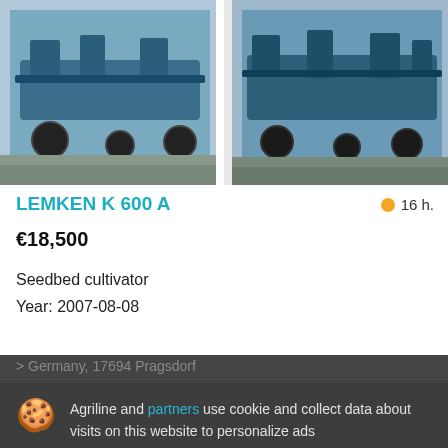[Figure (photo): Two photos of a LEMKEN K 600 A seedbed cultivator, blue agricultural machinery photographed outdoors]
LEMKEN K 600 A
16 h.
€18,500
Seedbed cultivator
Year: 2007-08-08
Germany, 17694 Pragsdorf
Agriline and partners use cookie and collect data about visits on this website to personalize ads
Subscribe to receive new ads from this section
Details
Accept and close